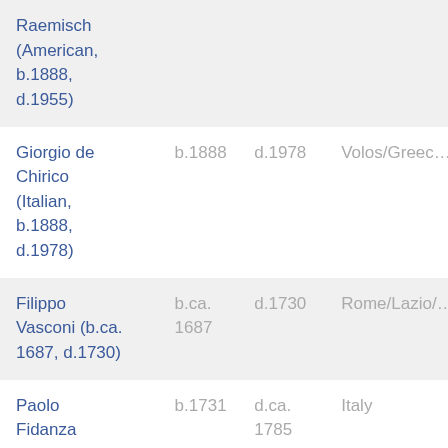| Name | Born | Died | Place |
| --- | --- | --- | --- |
| Raemisch (American, b.1888, d.1955) |  |  |  |
| Giorgio de Chirico (Italian, b.1888, d.1978) | b.1888 | d.1978 | Volos/Greec… |
| Filippo Vasconi (b.ca. 1687, d.1730) | b.ca. 1687 | d.1730 | Rome/Lazio/… |
| Paolo Fidanza (b.1731, d.ca. 1785) | b.1731 | d.ca. 1785 | Italy |